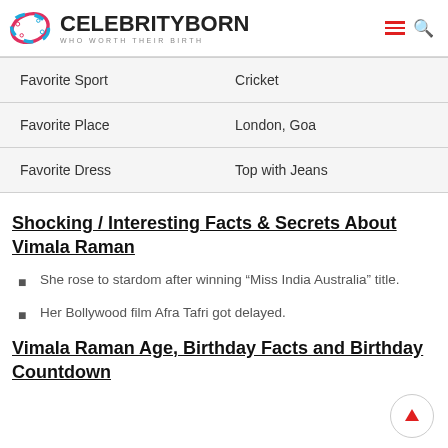CELEBRITYBORN WHO WORTH THEIR BIRTH
| Field | Value |
| --- | --- |
| Favorite Sport | Cricket |
| Favorite Place | London, Goa |
| Favorite Dress | Top with Jeans |
Shocking / Interesting Facts & Secrets About Vimala Raman
She rose to stardom after winning “Miss India Australia” title.
Her Bollywood film Afra Tafri got delayed.
Vimala Raman Age, Birthday Facts and Birthday Countdown